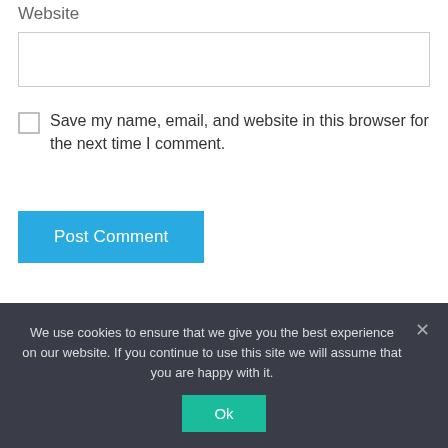Website
[Figure (screenshot): Empty text input box for website URL]
[Figure (screenshot): Unchecked checkbox]
Save my name, email, and website in this browser for the next time I comment.
[Figure (screenshot): Post Comment button in blue]
We use cookies to ensure that we give you the best experience on our website. If you continue to use this site we will assume that you are happy with it.
[Figure (screenshot): Ok button in teal/green]